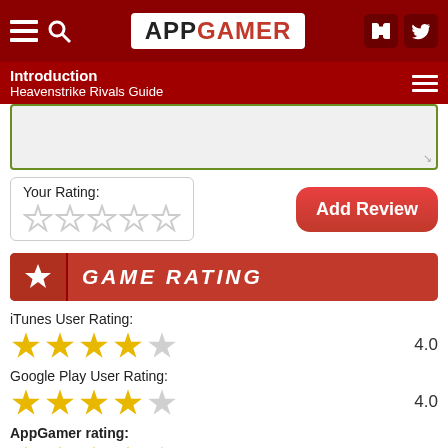APPGAMER
Introduction
Heavenstrike Rivals Guide
Your Rating:
Add Review
GAME RATING
iTunes User Rating: 4.0
Google Play User Rating: 4.0
AppGamer rating: 4.5
Average site rating:
This game has not been rated yet.